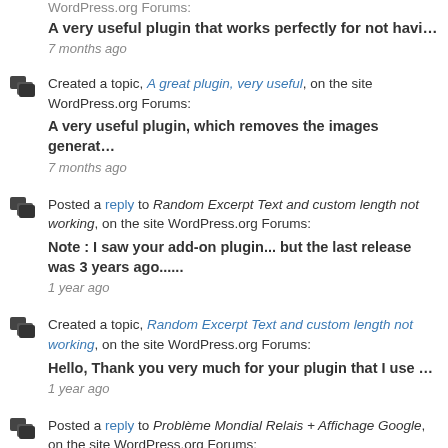WordPress.org Forums:
A very useful plugin that works perfectly for not havi…
7 months ago
Created a topic, A great plugin, very useful, on the site WordPress.org Forums:
A very useful plugin, which removes the images generat…
7 months ago
Posted a reply to Random Excerpt Text and custom length not working, on the site WordPress.org Forums:
Note : I saw your add-on plugin... but the last release was 3 years ago......
1 year ago
Created a topic, Random Excerpt Text and custom length not working, on the site WordPress.org Forums:
Hello, Thank you very much for your plugin that I use …
1 year ago
Posted a reply to Problème Mondial Relais + Affichage Google, on the site WordPress.org Forums:
re Merci beaucoup ! ;-) Cordialement. Sylvie